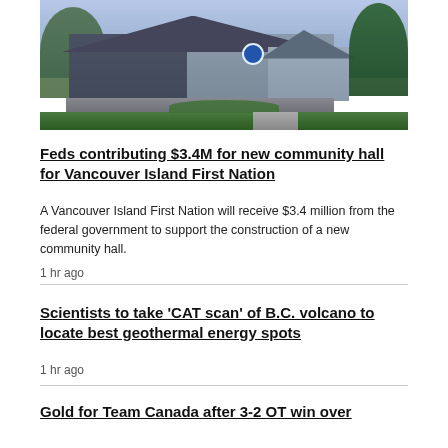[Figure (photo): Architectural rendering of a new community hall building with a dark roof, stone foundation, trees in background, and a blue circular logo on the facade. Blue-tinted sky.]
Feds contributing $3.4M for new community hall for Vancouver Island First Nation
A Vancouver Island First Nation will receive $3.4 million from the federal government to support the construction of a new community hall.
1 hr ago
Scientists to take 'CAT scan' of B.C. volcano to locate best geothermal energy spots
1 hr ago
Gold for Team Canada after 3-2 OT win over